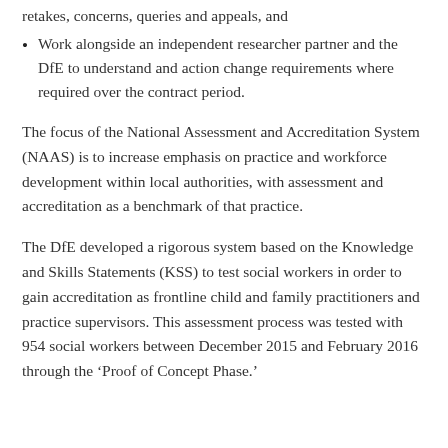retakes, concerns, queries and appeals, and
Work alongside an independent researcher partner and the DfE to understand and action change requirements where required over the contract period.
The focus of the National Assessment and Accreditation System (NAAS) is to increase emphasis on practice and workforce development within local authorities, with assessment and accreditation as a benchmark of that practice.
The DfE developed a rigorous system based on the Knowledge and Skills Statements (KSS) to test social workers in order to gain accreditation as frontline child and family practitioners and practice supervisors. This assessment process was tested with 954 social workers between December 2015 and February 2016 through the ‘Proof of Concept Phase.’